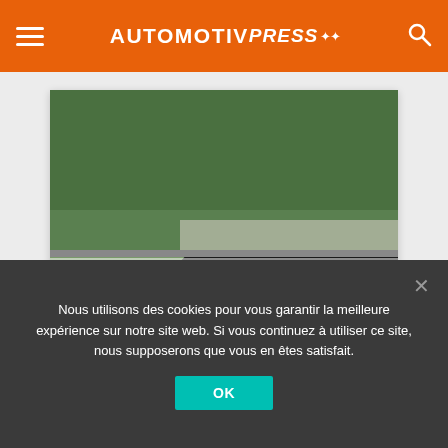AUTOMOTIV PRESS
[Figure (photo): Race cars on Nürburgring track: a yellow Porsche 911, a white classic car, and a large white/blue American classic car in foreground on a curved section of track. Trees and Armco barriers visible in background.]
43ème AvD Oldtimer Grand Prix 2015 : AvD Historic Marathon & Nürburgring Trophy
Nous utilisons des cookies pour vous garantir la meilleure expérience sur notre site web. Si vous continuez à utiliser ce site, nous supposerons que vous en êtes satisfait.